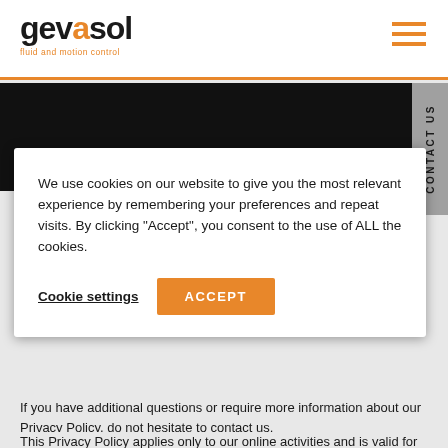gevasol fluid and motion control
[Figure (screenshot): Dark hero banner image area (black background)]
We use cookies on our website to give you the most relevant experience by remembering your preferences and repeat visits. By clicking “Accept”, you consent to the use of ALL the cookies.
Cookie settings
ACCEPT
If you have additional questions or require more information about our Privacy Policy, do not hesitate to contact us.
This Privacy Policy applies only to our online activities and is valid for visitors to our website with regards to the